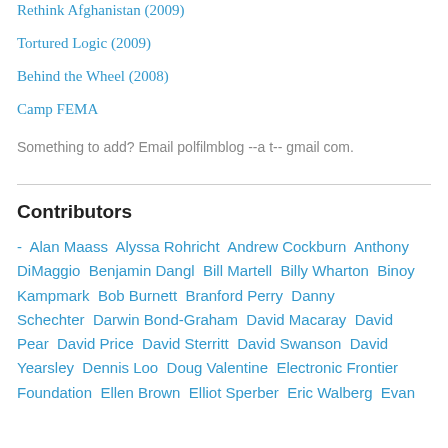Rethink Afghanistan (2009)
Tortured Logic (2009)
Behind the Wheel (2008)
Camp FEMA
Something to add? Email polfilmblog --a t-- gmail com.
Contributors
- Alan Maass  Alyssa Rohricht  Andrew Cockburn  Anthony DiMaggio  Benjamin Dangl  Bill Martell  Billy Wharton  Binoy Kampmark  Bob Burnett  Branford Perry  Danny Schechter  Darwin Bond-Graham  David Macaray  David Pear  David Price  David Sterritt  David Swanson  David Yearsley  Dennis Loo  Doug Valentine  Electronic Frontier Foundation  Ellen Brown  Elliot Sperber  Eric Walberg  Evan